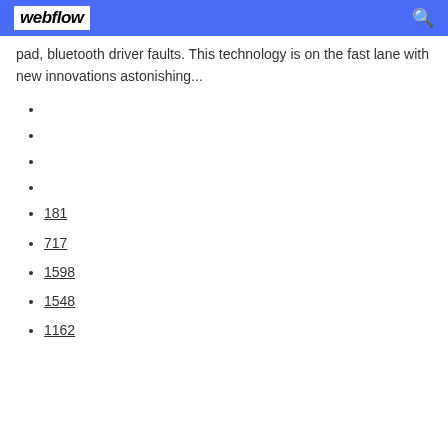webflow
pad, bluetooth driver faults. This technology is on the fast lane with new innovations astonishing...
181
717
1598
1548
1162